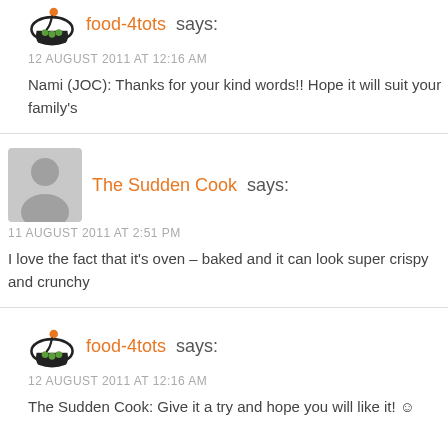food-4tots says:
12 AUGUST 2011 AT 12:16 AM
Nami (JOC): Thanks for your kind words!! Hope it will suit your family's
The Sudden Cook says:
11 AUGUST 2011 AT 2:51 PM
I love the fact that it's oven – baked and it can look super crispy and crunchy
food-4tots says:
12 AUGUST 2011 AT 12:16 AM
The Sudden Cook: Give it a try and hope you will like it! ☺